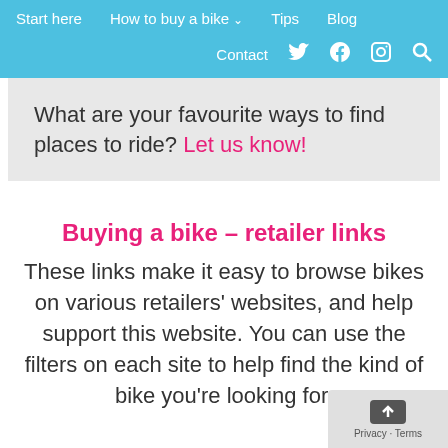Start here   How to buy a bike ˅   Tips   Blog   Contact   [Twitter] [Facebook] [Instagram] [Search]
What are your favourite ways to find places to ride? Let us know!
Buying a bike – retailer links
These links make it easy to browse bikes on various retailers' websites, and help support this website. You can use the filters on each site to help find the kind of bike you're looking for.